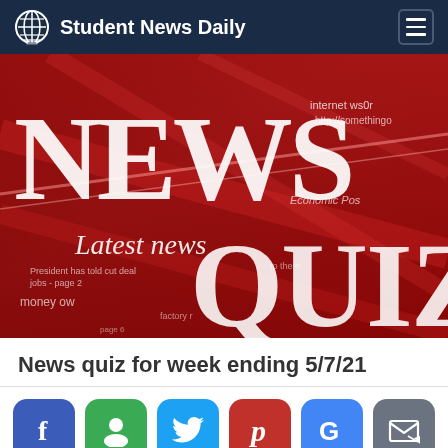Student News Daily
[Figure (photo): Red newspaper montage image with large white text reading NEWS and QUIZ, with smaller text reading Latest news and money owed to them]
News quiz for week ending 5/7/21
[Figure (infographic): Social sharing buttons: Facebook (blue), Google+ (green), Twitter (blue), Pinterest (red), Google (blue), Email (gray)]